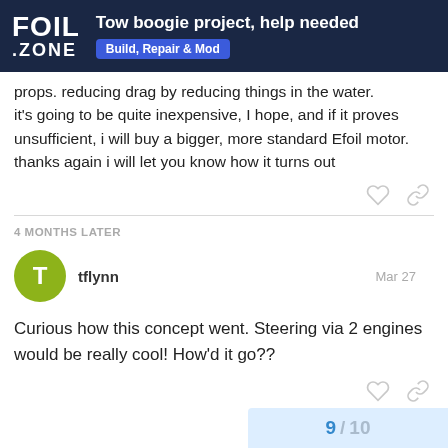FOIL .ZONE — Tow boogie project, help needed — Build, Repair & Mod
props. reducing drag by reducing things in the water. it's going to be quite inexpensive, I hope, and if it proves unsufficient, i will buy a bigger, more standard Efoil motor. thanks again i will let you know how it turns out
4 MONTHS LATER
tflynn — Mar 27
Curious how this concept went. Steering via 2 engines would be really cool! How'd it go??
9 / 10